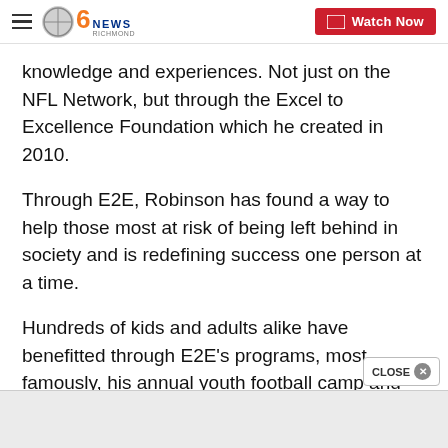CBS 6 NEWS RICHMOND — Watch Now
knowledge and experiences. Not just on the NFL Network, but through the Excel to Excellence Foundation which he created in 2010.
Through E2E, Robinson has found a way to help those most at risk of being left behind in society and is redefining success one person at a time.
Hundreds of kids and adults alike have benefitted through E2E's programs, most famously, his annual youth football camp and community day.
They have also transformed the old Varina library